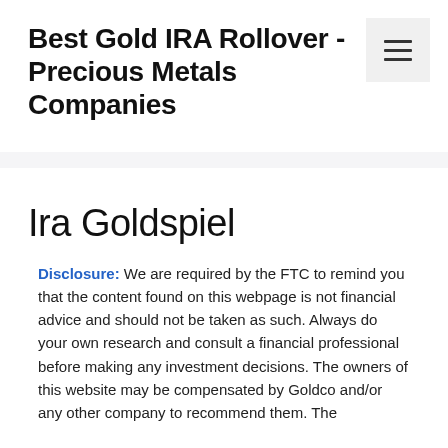Best Gold IRA Rollover - Precious Metals Companies
Ira Goldspiel
Disclosure: We are required by the FTC to remind you that the content found on this webpage is not financial advice and should not be taken as such. Always do your own research and consult a financial professional before making any investment decisions. The owners of this website may be compensated by Goldco and/or any other company to recommend them. The